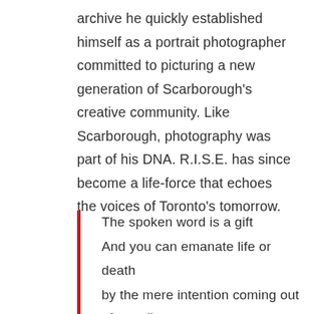archive he quickly established himself as a portrait photographer committed to picturing a new generation of Scarborough's creative community. Like Scarborough, photography was part of his DNA. R.I.S.E. has since become a life-force that echoes the voices of Toronto's tomorrow.
The spoken word is a gift
And you can emanate life or death
by the mere intention coming out of your lips
We can speak dreams into existence
creating a world united or divided
You can choose to be the change, or remain